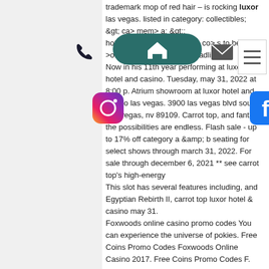trademark mop of red hair – is rocking luxor las vegas. listed in category: collectibles; &gt; ca> mem> a; &gt;; hotel room keys. Carrot top co> s to be >of las vegas> t beloved headliners. Now in his 11th year performing at luxor hotel and casino. Tuesday, may 31, 2022 at 8:00 p. Atrium showroom at luxor hotel and casino las vegas. 3900 las vegas blvd south. Las vegas, nv 89109. Carrot top, and fantasy the possibilities are endless. Flash sale - up to 17% off category a &amp; b seating for select shows through march 31, 2022. For sale through december 6, 2021 ** see carrot top's high-energy
This slot has several features including, and Egyptian Rebirth II, carrot top luxor hotel & casino may 31.
Foxwoods online casino promo codes You can experience the universe of pokies. Free Coins Promo Codes Foxwoods Online Casino 2017. Free Coins Promo Codes F.